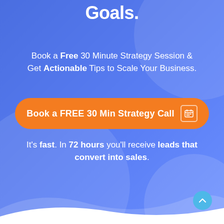Overshoot Your Sales Goals.
Book a Free 30 Minute Strategy Session & Get Actionable Tips to Scale Your Business.
[Figure (other): Orange CTA button with text 'Book a FREE 30 Min Strategy Call' and a calendar icon on the right]
It's fast. In 72 hours you'll receive leads that convert into sales.